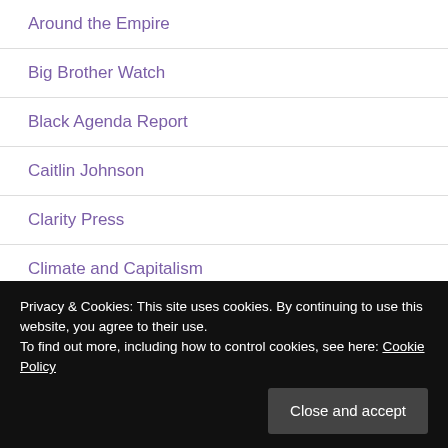Around the Empire
Big Brother Watch
Black Agenda Report
Caitlin Johnson
Clarity Press
Climate and Capitalism
Coldtype
Privacy & Cookies: This site uses cookies. By continuing to use this website, you agree to their use.
To find out more, including how to control cookies, see here: Cookie Policy
Covert Action Magazine